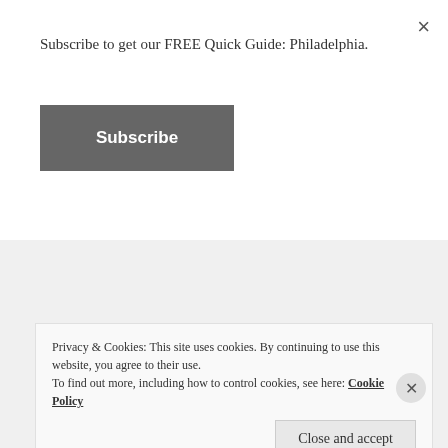Subscribe to get our FREE Quick Guide: Philadelphia.
[Figure (other): Subscribe button — dark gray rectangular button with white bold text 'Subscribe']
[Figure (photo): SanDisk Ultra 32GB SD card (80 MB/s, Class 10, SDHC I) shown close-up against a light background]
Privacy & Cookies: This site uses cookies. By continuing to use this website, you agree to their use. To find out more, including how to control cookies, see here: Cookie Policy
[Figure (other): Close and accept button — light gray rectangular button with 'Close and accept' text]